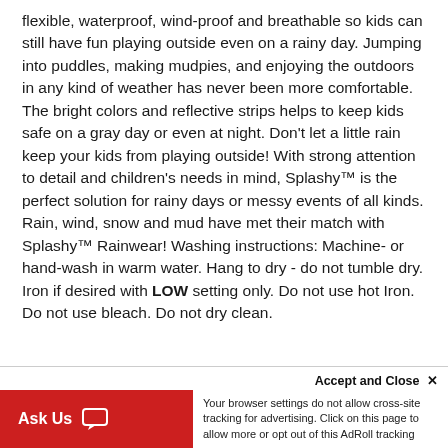flexible, waterproof, wind-proof and breathable so kids can still have fun playing outside even on a rainy day. Jumping into puddles, making mudpies, and enjoying the outdoors in any kind of weather has never been more comfortable. The bright colors and reflective strips helps to keep kids safe on a gray day or even at night. Don’t let a little rain keep your kids from playing outside! With strong attention to detail and children’s needs in mind, Splashy™ is the perfect solution for rainy days or messy events of all kinds. Rain, wind, snow and mud have met their match with Splashy™ Rainwear! Washing instructions: Machine- or hand-wash in warm water. Hang to dry - do not tumble dry. Iron if desired with LOW setting only. Do not use hot Iron. Do not use bleach. Do not dry clean.
Accept and Close ×
Your browser settings do not allow cross-site tracking for advertising. Click on this page to allow more or opt out of this AdRoll tracking
Ask Us